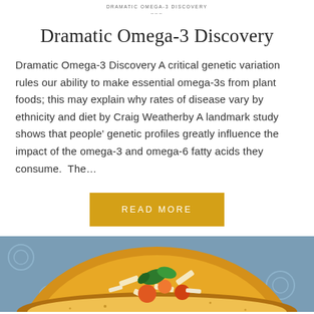DRAMATIC OMEGA-3 DISCOVERY
Dramatic Omega-3 Discovery
Dramatic Omega-3 Discovery A critical genetic variation rules our ability to make essential omega-3s from plant foods; this may explain why rates of disease vary by ethnicity and diet by Craig Weatherby A landmark study shows that people' genetic profiles greatly influence the impact of the omega-3 and omega-6 fatty acids they consume.  The...
READ MORE
[Figure (photo): Photo of a yellow bowl containing pasta and colorful vegetables including green herbs, orange and red tomatoes, on a blue patterned surface.]